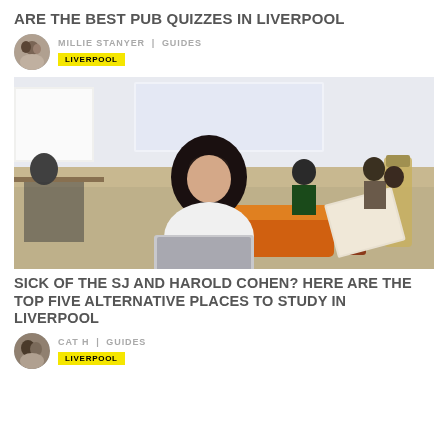ARE THE BEST PUB QUIZZES IN LIVERPOOL
MILLIE STANYER | GUIDES
LIVERPOOL
[Figure (photo): A young woman with dark hair looking at a laptop in what appears to be a university study space or cafeteria. Other people are seated at tables in the background near a large projector screen.]
SICK OF THE SJ AND HAROLD COHEN? HERE ARE THE TOP FIVE ALTERNATIVE PLACES TO STUDY IN LIVERPOOL
CAT H | GUIDES
LIVERPOOL